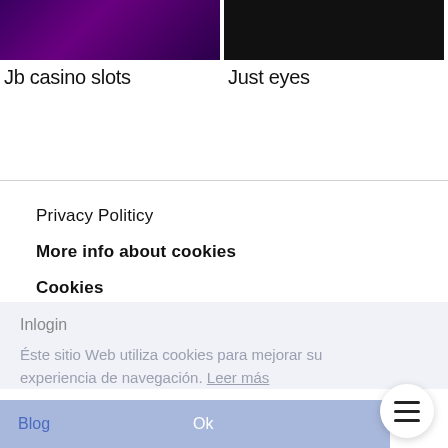[Figure (screenshot): Purple/dark casino slot machine image thumbnail]
Jb casino slots
[Figure (screenshot): Black image thumbnail]
Just eyes
Privacy Politicy
More info about cookies
Cookies
Inlogin
Éste sitio Web utiliza cookies para mejorar su experiencia de navegación. Leer más
Blog
Ok